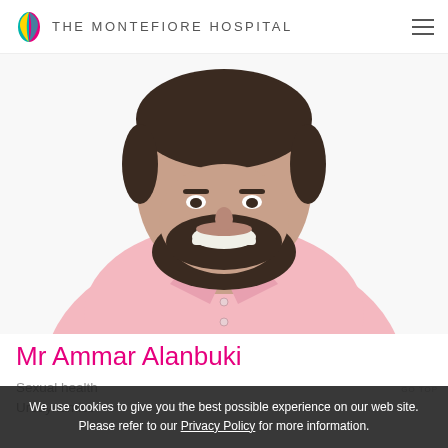THE MONTEFIORE HOSPITAL
[Figure (photo): Portrait photo of Mr Ammar Alanbuki, a man with dark beard and hair, smiling, wearing a pink shirt, white background.]
Mr Ammar Alanbuki
Sexual health
Urodynamics
We use cookies to give you the best possible experience on our web site. Please refer to our Privacy Policy for more information.